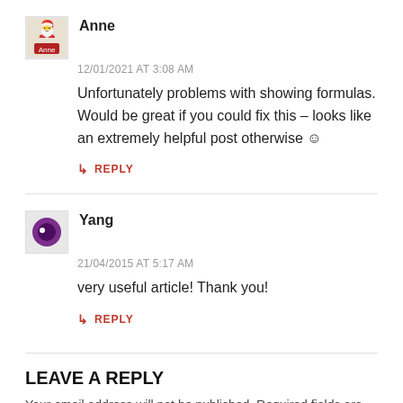Anne
12/01/2021 AT 3:08 AM
Unfortunately problems with showing formulas. Would be great if you could fix this – looks like an extremely helpful post otherwise ☺
↳ REPLY
Yang
21/04/2015 AT 5:17 AM
very useful article! Thank you!
↳ REPLY
LEAVE A REPLY
Your email address will not be published. Required fields are marked